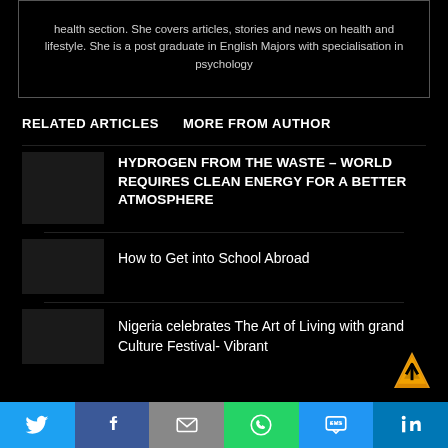health section. She covers articles, stories and news on health and lifestyle. She is a post graduate in English Majors with specialisation in psychology
RELATED ARTICLES   MORE FROM AUTHOR
HYDROGEN FROM THE WASTE – WORLD REQUIRES CLEAN ENERGY FOR A BETTER ATMOSPHERE
How to Get into School Abroad
Nigeria celebrates The Art of Living with grand Culture Festival- Vibrant